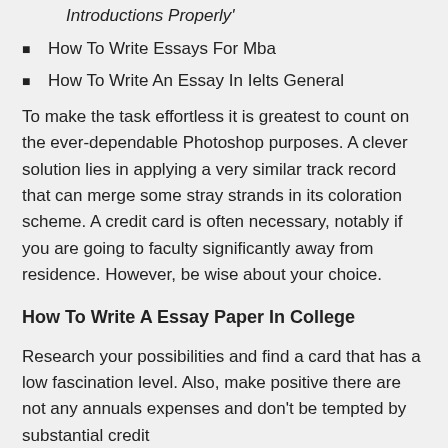Introductions Properly'
How To Write Essays For Mba
How To Write An Essay In Ielts General
To make the task effortless it is greatest to count on the ever-dependable Photoshop purposes. A clever solution lies in applying a very similar track record that can merge some stray strands in its coloration scheme. A credit card is often necessary, notably if you are going to faculty significantly away from residence. However, be wise about your choice.
How To Write A Essay Paper In College
Research your possibilities and find a card that has a low fascination level. Also, make positive there are not any annuals expenses and don't be tempted by substantial credit